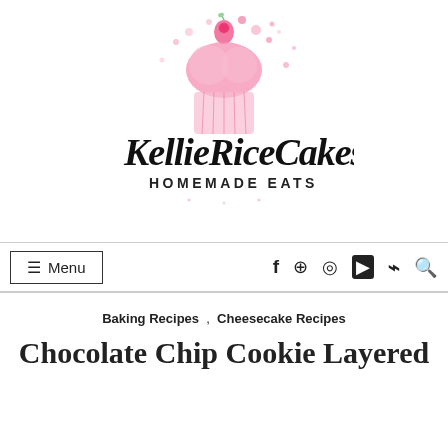[Figure (logo): KellieRiceCakes Homemade Eats logo with watercolor pink cupcake illustration and script text]
☰ Menu   f  ⊕  ◎  ▶  ⟩  🔍
Baking Recipes , Cheesecake Recipes
Chocolate Chip Cookie Layered